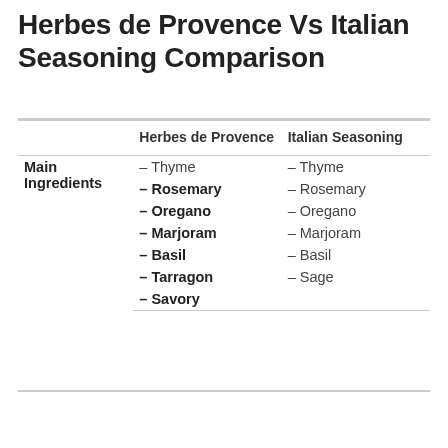Herbes de Provence Vs Italian Seasoning Comparison
|  | Herbes de Provence | Italian Seasoning |
| --- | --- | --- |
| Main Ingredients | – Thyme
– Rosemary
– Oregano
– Marjoram
– Basil
– Tarragon
– Savory | – Thyme
– Rosemary
– Oregano
– Marjoram
– Basil
– Sage |